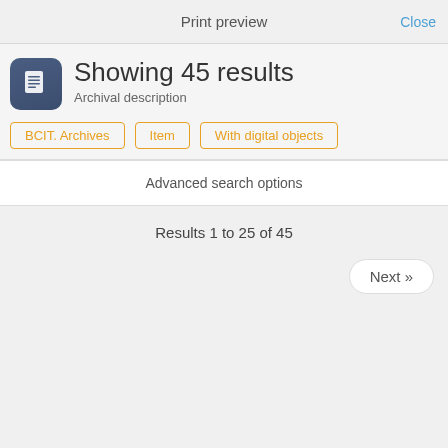Print preview    Close
Showing 45 results
Archival description
BCIT. Archives
Item
With digital objects
Advanced search options
Results 1 to 25 of 45
Next »